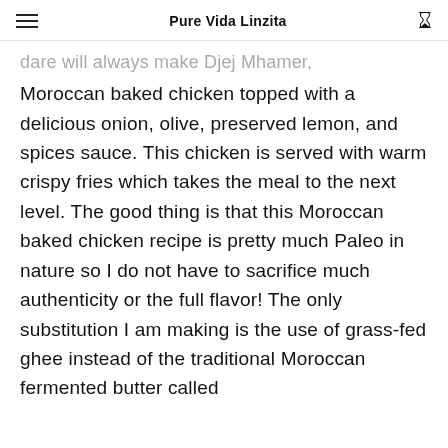Pure Vida Linzita
dare will always make Djej Mhamer, Moroccan baked chicken topped with a delicious onion, olive, preserved lemon, and spices sauce. This chicken is served with warm crispy fries which takes the meal to the next level. The good thing is that this Moroccan baked chicken recipe is pretty much Paleo in nature so I do not have to sacrifice much authenticity or the full flavor! The only substitution I am making is the use of grass-fed ghee instead of the traditional Moroccan fermented butter called